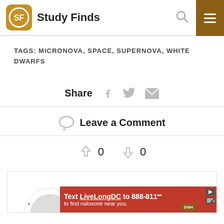Study Finds
TAGS: MICRONOVA, SPACE, SUPERNOVA, WHITE DWARFS
Share
Leave a Comment
0  0
[Figure (screenshot): Advertisement banner: Text LiveLongDC to 888-811 to find naloxone near you.]